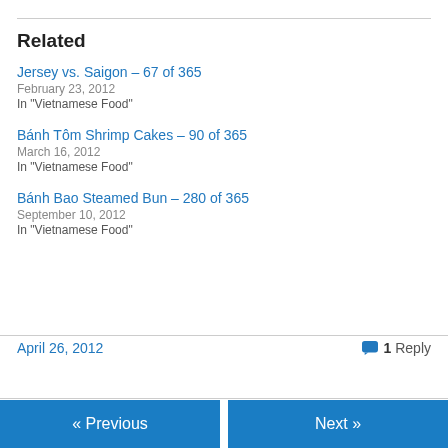Related
Jersey vs. Saigon – 67 of 365
February 23, 2012
In "Vietnamese Food"
Bánh Tôm Shrimp Cakes – 90 of 365
March 16, 2012
In "Vietnamese Food"
Bánh Bao Steamed Bun – 280 of 365
September 10, 2012
In "Vietnamese Food"
April 26, 2012    1 Reply
« Previous    Next »